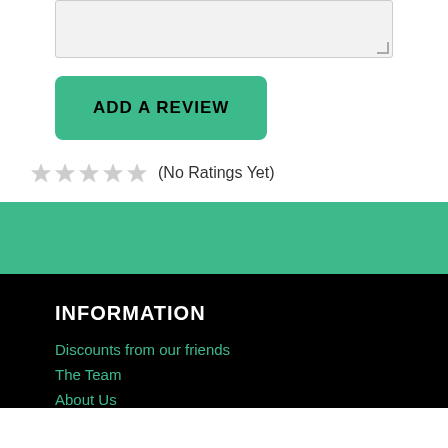[Figure (other): Text area input field (form element), partially visible at top]
ADD A REVIEW
☆☆☆☆☆ (No Ratings Yet)
INFORMATION
Discounts from our friends
The Team
About Us